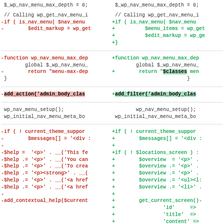[Figure (screenshot): A code diff view showing two columns (old and new) of PHP/WordPress code changes, with red lines for deletions and green lines for additions, including highlighted spans for changed tokens.]